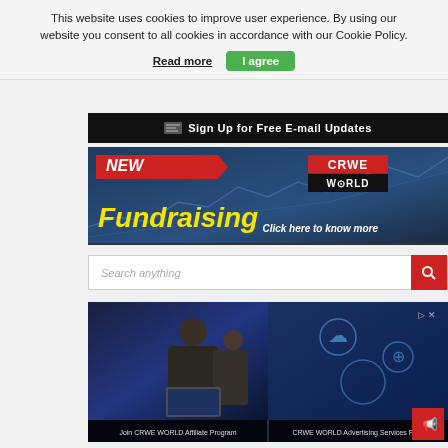This website uses cookies to improve user experience. By using our website you consent to all cookies in accordance with our Cookie Policy.
Read more
I agree
Sign Up for Free E-mail Updates
[Figure (infographic): CRWE World Fundraising banner with NEW badge, yellow Fundraising text, CRWE WORLD logo, and Click here to know more text on dark blue stock chart background]
Search anything
[Figure (photo): Two people in suits looking at a laptop and pointing at a blue technology screen with cloud/network icons]
Join CRWE WORLD Affiliate Program
CRWE WORLD Advertising Services Rate